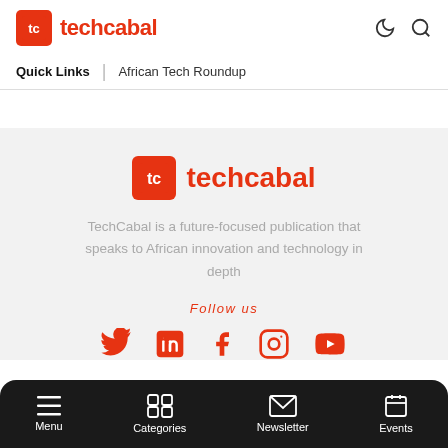[Figure (logo): TechCabal logo in header: orange rounded square with TC icon, followed by 'techcabal' in orange text]
Quick Links  |  African Tech Roundup
[Figure (logo): TechCabal footer logo: large orange rounded square with TC icon, followed by 'techcabal' in orange text]
TechCabal is a future-focused publication that speaks to African innovation and technology in depth
Follow us
[Figure (infographic): Social media icons: Twitter, LinkedIn, Facebook, Instagram, YouTube — all in orange/red]
Menu  Categories  Newsletter  Events